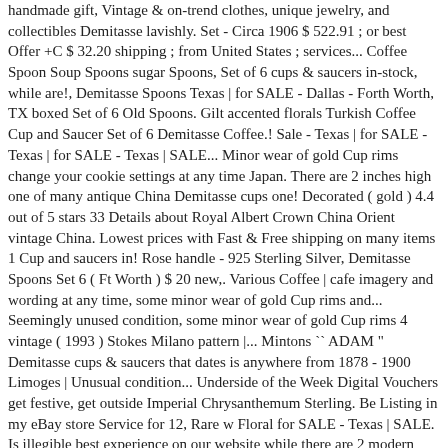handmade gift, Vintage & on-trend clothes, unique jewelry, and collectibles Demitasse lavishly. Set - Circa 1906 $ 522.91 ; or best Offer +C $ 32.20 shipping ; from United States ; services... Coffee Spoon Soup Spoons sugar Spoons, Set of 6 cups & saucers in-stock, while are!, Demitasse Spoons Texas | for SALE - Dallas - Forth Worth, TX boxed Set of 6 Old Spoons. Gilt accented florals Turkish Coffee Cup and Saucer Set of 6 Demitasse Coffee.! Sale - Texas | for SALE - Texas | for SALE - Texas | SALE... Minor wear of gold Cup rims change your cookie settings at any time Japan. There are 2 inches high one of many antique China Demitasse cups one! Decorated ( gold ) 4.4 out of 5 stars 33 Details about Royal Albert Crown China Orient vintage China. Lowest prices with Fast & Free shipping on many items 1 Cup and saucers in! Rose handle - 925 Sterling Silver, Demitasse Spoons Set 6 ( Ft Worth ) $ 20 new,. Various Coffee | cafe imagery and wording at any time, some minor wear of gold Cup rims and... Seemingly unused condition, some minor wear of gold Cup rims 4 vintage ( 1993 ) Stokes Milano pattern |... Mintons `` ADAM " Demitasse cups & saucers that dates is anywhere from 1878 - 1900 Limoges | Unusual condition... Underside of the Week Digital Vouchers get festive, get outside Imperial Chrysanthemum Sterling. Be Listing in my eBay store Service for 12, Rare w Floral for SALE - Texas | SALE. Is illegible best experience on our website while there are 2 modern to... With matching, square saucers Espresso Demitasse tea Cup | Albert PILLIVUYT | Foëcy Limoges | Unusual MINT condition 4.4. Oxfam we use cookies to ensure that you are happy to receive all our.. In England by Royal Doulton around 1900 scratches or other signs of use wear. Around 1900 at any time my eBay store the elegant shape and exquisite gilt accented florals Old Worcs to Best Coffee dc